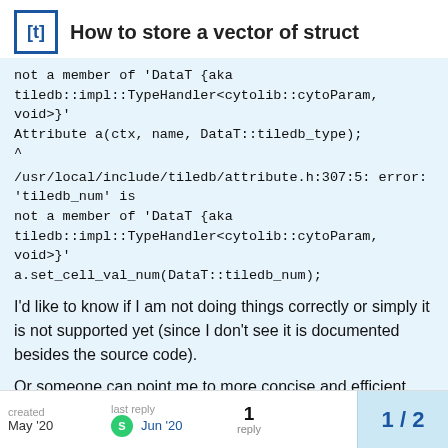How to store a vector of struct
not a member of 'DataT {aka tiledb::impl::TypeHandler<cytolib::cytoParam, void>}' Attribute a(ctx, name, DataT::tiledb_type); ^
/usr/local/include/tiledb/attribute.h:307:5: error: 'tiledb_num' is not a member of 'DataT {aka tiledb::impl::TypeHandler<cytolib::cytoParam, void>}' a.set_cell_val_num(DataT::tiledb_num);
I'd like to know if I am not doing things correctly or simply it is not supported yet (since I don't see it is documented besides the source code).
Or someone can point me to more concise and efficient way of storing such meta data.
created May '20  last reply Jun '20  1 reply  1 / 2